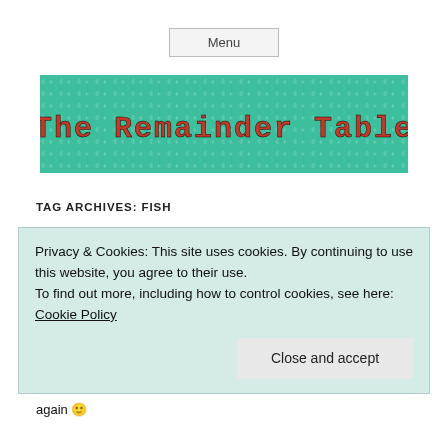Menu
[Figure (logo): The Remainder Table blog logo — green patterned background with decorative red and dark text reading 'The Remainder Table']
TAG ARCHIVES: FISH
Privacy & Cookies: This site uses cookies. By continuing to use this website, you agree to their use.
To find out more, including how to control cookies, see here: Cookie Policy
Close and accept
again 😊